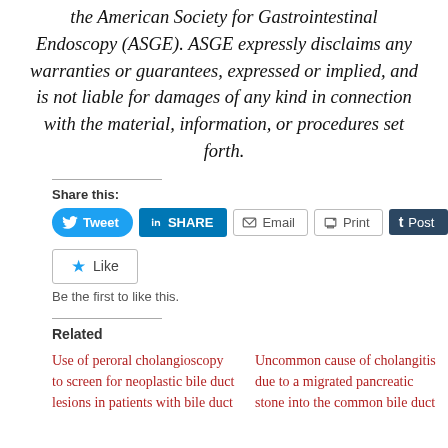the American Society for Gastrointestinal Endoscopy (ASGE). ASGE expressly disclaims any warranties or guarantees, expressed or implied, and is not liable for damages of any kind in connection with the material, information, or procedures set forth.
Share this:
[Figure (other): Social share buttons: Tweet, SHARE (LinkedIn), Email, Print, Post (Tumblr)]
[Figure (other): Like button widget]
Be the first to like this.
Related
Use of peroral cholangioscopy to screen for neoplastic bile duct lesions in patients with bile duct
Uncommon cause of cholangitis due to a migrated pancreatic stone into the common bile duct